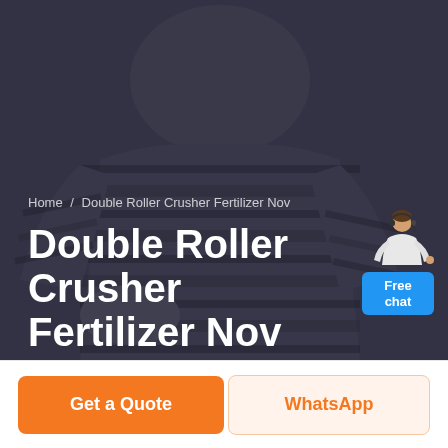[Figure (photo): Dark-toned hero image showing a person wearing a black and grey striped sweater, used as a webpage banner background. The image has a dark blue-grey overlay.]
Home / Double Roller Crusher Fertilizer Nov
Double Roller Crusher Fertilizer Nov
[Figure (illustration): Free chat widget showing a customer service agent with a blue button labeled 'Free chat']
Get a Quote
WhatsApp